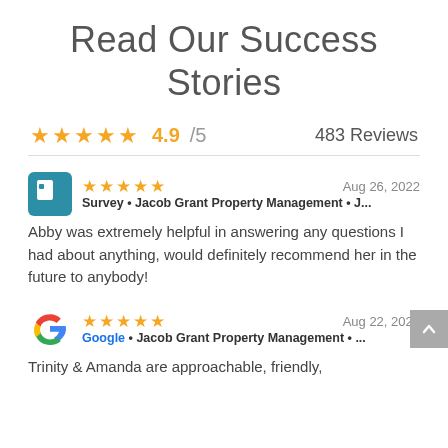Read Our Success Stories
4.9/5   483 Reviews
Survey • Jacob Grant Property Management • J...   Aug 26, 2022
Abby was extremely helpful in answering any questions I had about anything, would definitely recommend her in the future to anybody!
Google • Jacob Grant Property Management • ...   Aug 22, 2022
Trinity & Amanda are approachable, friendly,